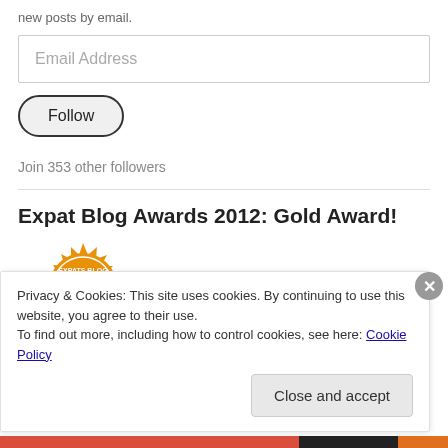new posts by email.
Email Address
Follow
Join 353 other followers
Expat Blog Awards 2012: Gold Award!
[Figure (logo): Expats Blog gold award badge/seal in orange and white]
Privacy & Cookies: This site uses cookies. By continuing to use this website, you agree to their use.
To find out more, including how to control cookies, see here: Cookie Policy
Close and accept